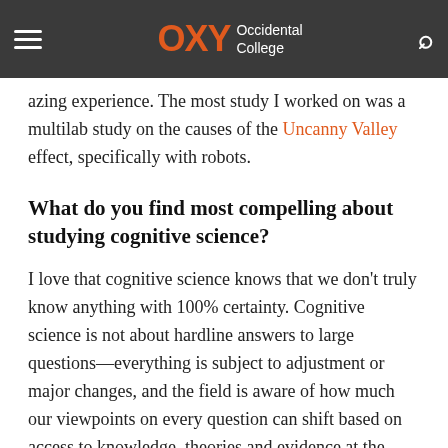OXY Occidental College
azing experience. The most study I worked on was a multilab study on the causes of the Uncanny Valley effect, specifically with robots.
What do you find most compelling about studying cognitive science?
I love that cognitive science knows that we don't truly know anything with 100% certainty. Cognitive science is not about hardline answers to large questions—everything is subject to adjustment or major changes, and the field is aware of how much our viewpoints on every question can shift based on access to knowledge, theories and evidence at the time. I find this malleability and diving into the